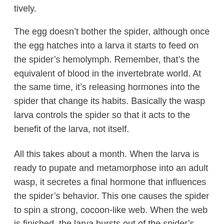tively.
The egg doesn’t bother the spider, although once the egg hatches into a larva it starts to feed on the spider’s hemolymph. Remember, that’s the equivalent of blood in the invertebrate world. At the same time, it’s releasing hormones into the spider that change its habits. Basically the wasp larva controls the spider so that it acts to the benefit of the larva, not itself.
All this takes about a month. When the larva is ready to pupate and metamorphose into an adult wasp, it secretes a final hormone that influences the spider’s behavior. This one causes the spider to spin a strong, cocoon-like web. When the web is finished, the larva bursts out of the spider’s body, killing it, and eats the spider. Then it enters the cocoon and develops into an adult wasp.